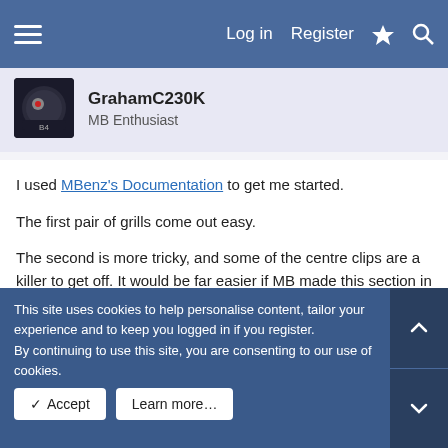Log in | Register
GrahamC230K
MB Enthusiast
I used MBenz's Documentation to get me started.
The first pair of grills come out easy.
The second is more tricky, and some of the centre clips are a killer to get off. It would be far easier if MB made this section in 2 parts!
This site uses cookies to help personalise content, tailor your experience and to keep you logged in if you register.
By continuing to use this site, you are consenting to our use of cookies.